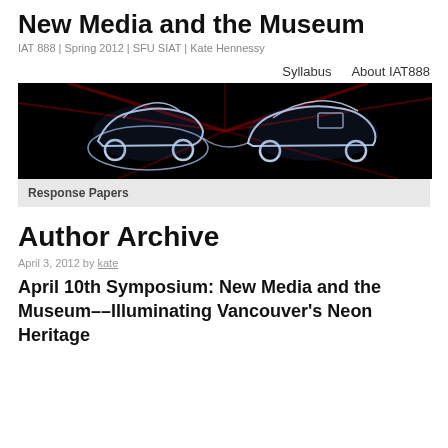New Media and the Museum
IAT 888 | Spring 2012 | SFU SIAT | Kate Hennessy
Syllabus    About IAT888
[Figure (photo): Dark photograph showing neon light outlines of vintage automobiles against a black background with radiating light beams]
Response Papers
Author Archive
April 3, 2012 by kate
April 10th Symposium: New Media and the Museum––Illuminating Vancouver's Neon Heritage